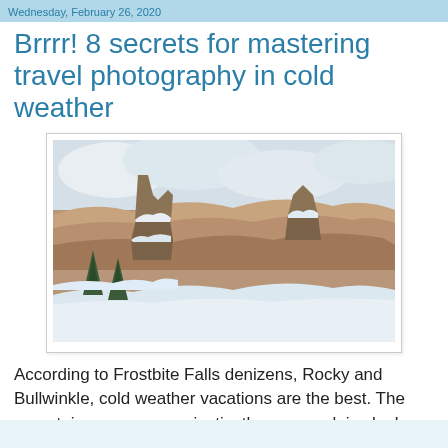Wednesday, February 26, 2020
Brrrr! 8 secrets for mastering travel photography in cold weather
[Figure (photo): Snow-covered Grand Canyon rock formations with pine trees, cloudy sky in background]
According to Frostbite Falls denizens, Rocky and Bullwinkle, cold weather vacations are the best. The mountains are more majestic, the snowy plains look new and fresh, and the icy waterfalls are studies of frozen motion.
There are tremendous photographic opportunities while traveling in cold-weather destinations. But there are also challenges you must overcome to bring home photographic travel memories from places like Montreal and Reykjavik.